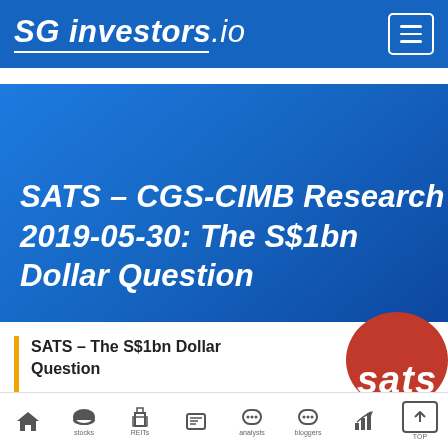SG investors.io
SATS - CGS-CIMB Research 2019-05-30: The S$1bn Dollar Question
SATS - The S$1bn Dollar Question
[Figure (logo): SATS red circular logo with white text]
Home | Stocks | REITs | News | Analysts | Bloggers | Charts | TOP